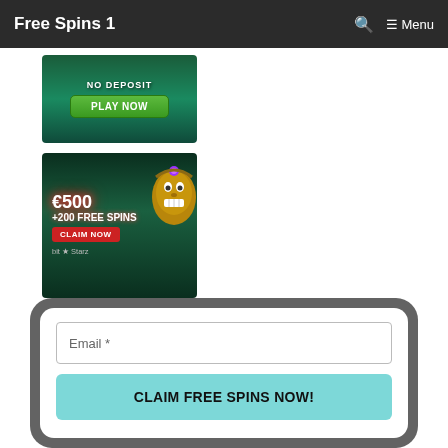Free Spins 1  🔍  ≡ Menu
[Figure (photo): Casino advertisement banner showing 'NO DEPOSIT' text and a green 'PLAY NOW' button on a dark tropical background]
[Figure (photo): BitStarz casino advertisement banner showing '€500 +200 FREE SPINS' offer with a tiki statue figure, 'CLAIM NOW' red button and BitStarz logo]
[Figure (screenshot): Email subscription form with 'Email *' input field and a teal 'CLAIM FREE SPINS NOW!' button on a dark grey rounded card]